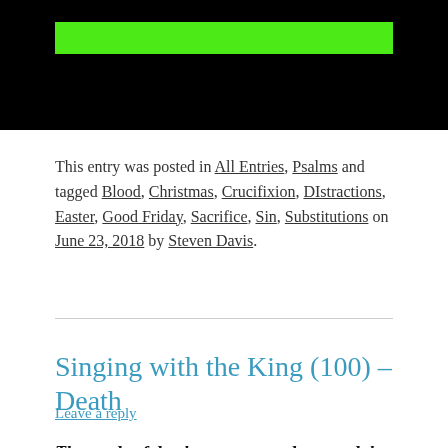[Figure (illustration): Black and green banner image from a blog header with white text partially visible]
This entry was posted in All Entries, Psalms and tagged Blood, Christmas, Crucifixion, DIstractions, Easter, Good Friday, Sacrifice, Sin, Substitutions on June 23, 2018 by Steven Davis.
Singing with the King (100) – Death
Leave a reply
The cords of death encompassed me, and the torrents of ungodliness terrified me.  The